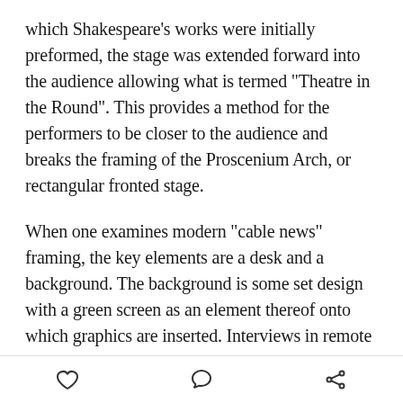which Shakespeare's works were initially preformed, the stage was extended forward into the audience allowing what is termed "Theatre in the Round". This provides a method for the performers to be closer to the audience and breaks the framing of the Proscenium Arch, or rectangular fronted stage.
When one examines modern "cable news" framing, the key elements are a desk and a background. The background is some set design with a green screen as an element thereof onto which graphics are inserted. Interviews in remote studios are almost entirely in "green rooms" onto which whatever background the publisher wishes can be placed. An interview with a person in London may show the Thames river or the
[heart icon] [comment icon] [share icon]